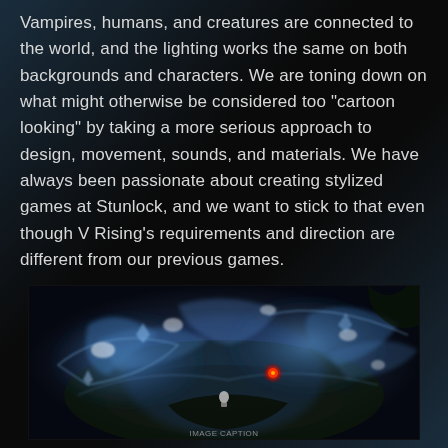Vampires, humans, and creatures are connected to the world, and the lighting works the same on both backgrounds and characters. We are toning down on what might otherwise be considered too "cartoon looking" by taking a more serious approach to design, movement, sounds, and materials. We have always been passionate about creating stylized games at Stunlock, and we want to stick to that even though V Rising's requirements and direction are different from our previous games.
[Figure (screenshot): In-game screenshot from V Rising showing a top-down view of a vampire character surrounded by swirling blue magical effects and icy mist, with a glowing red element visible in the center-right area.]